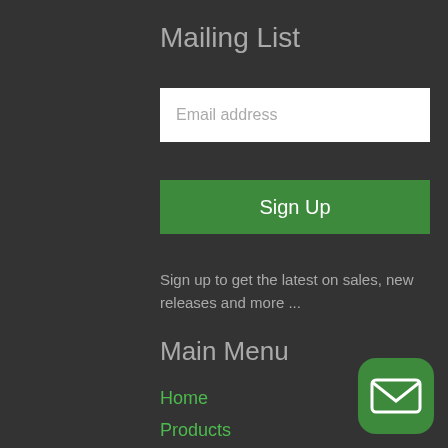Mailing List
Email address
Sign Up
Sign up to get the latest on sales, new releases and more ...
Main Menu
Home
Products
Blog
About Us
Videos
Contact
[Figure (illustration): Green rounded square button with white envelope/mail icon in the bottom right corner]